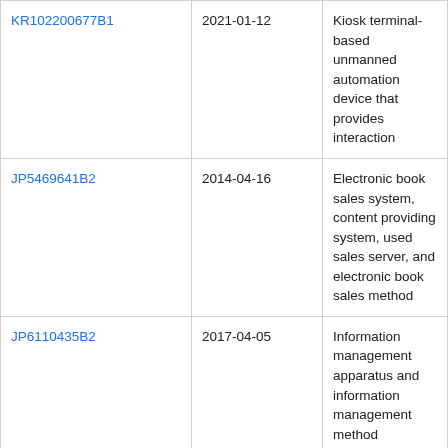| KR102200677B1 | 2021-01-12 | Kiosk terminal-based unmanned automation device that provides interaction |
| JP5469641B2 | 2014-04-16 | Electronic book sales system, content providing system, used sales server, and electronic book sales method |
| JP6110435B2 | 2017-04-05 | Information management apparatus and information management method |
| JP5315456B2 | 2013-10-16 | ELECTRONIC DISTRIBUTION METHOD, ELECTRONIC DISTRIBUTION DEVICE, AND ELECTRONIC DISTRIBUTION PROGRAM |
| WO2021117126A1 | 2021-06-17 | Video streaming ... |